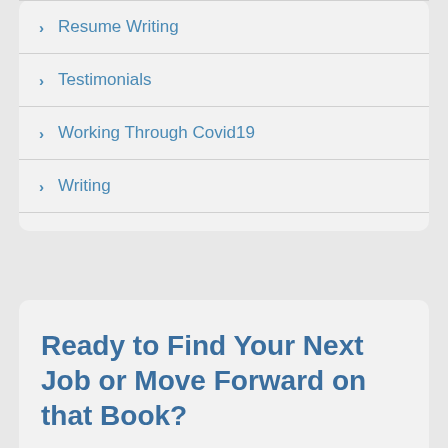Resume Writing
Testimonials
Working Through Covid19
Writing
Ready to Find Your Next Job or Move Forward on that Book?
Want to chat with us to make sure we are great fit for you and your career needs?